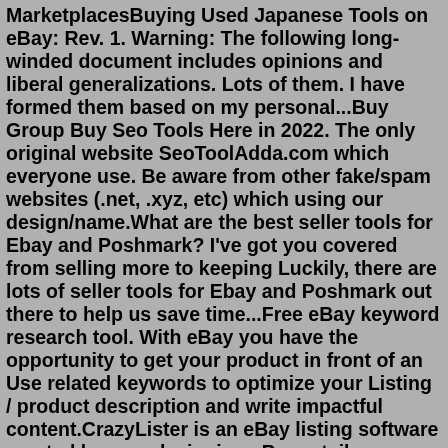MarketplacesBuying Used Japanese Tools on eBay: Rev. 1. Warning: The following long-winded document includes opinions and liberal generalizations. Lots of them. I have formed them based on my personal...Buy Group Buy Seo Tools Here in 2022. The only original website SeoToolAdda.com which everyone use. Be aware from other fake/spam websites (.net, .xyz, etc) which using our design/name.What are the best seller tools for Ebay and Poshmark? I've got you covered from selling more to keeping Luckily, there are lots of seller tools for Ebay and Poshmark out there to help us save time...Free eBay keyword research tool. With eBay you have the opportunity to get your product in front of an Use related keywords to optimize your Listing / product description and write impactful content.CrazyLister is an eBay listing software created by award-winning eBay retailers. According to its website, CrazyLister is used by 100,000 eBay sellers. CrazyLister invented the drag-and-drop templates editor for eBay, and offer over 200